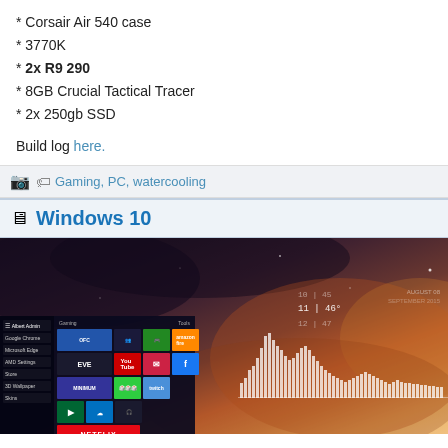* Corsair Air 540 case
* 3770K
* 2x R9 290
* 8GB Crucial Tactical Tracer
* 2x 250gb SSD
Build log here.
Gaming, PC, watercooling
Windows 10
[Figure (screenshot): Windows 10 desktop screenshot showing the Start menu with tiles (OFC, EVE, gaming tiles, Netflix, YouTube, Amazon, Mail, Facebook, etc.) on the left, and a dramatic dark cloudy sky wallpaper with an equalizer/music visualizer and HUD time display on the right.]